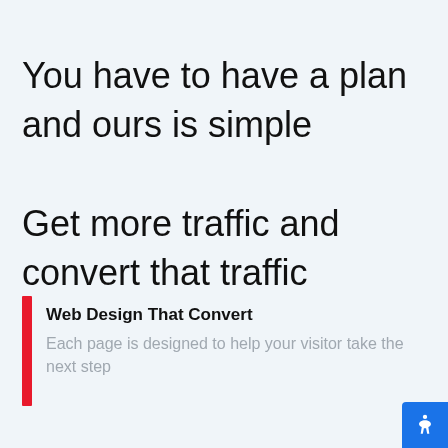You have to have a plan and ours is simple
Get more traffic and convert that traffic
Web Design That Convert
Each page is designed to help your visitor take the next step